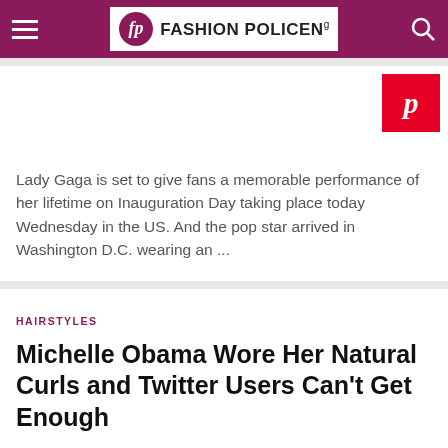FASHION POLICENG
[Figure (other): Pinterest share button (red square with white P logo)]
Lady Gaga is set to give fans a memorable performance of her lifetime on Inauguration Day taking place today Wednesday in the US. And the pop star arrived in Washington D.C. wearing an ...
HAIRSTYLES
Michelle Obama Wore Her Natural Curls and Twitter Users Can't Get Enough
July 9, 2019